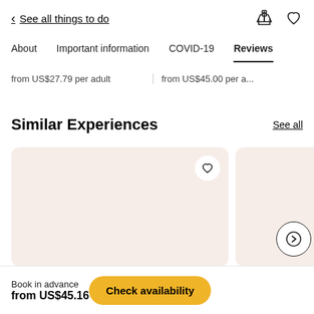< See all things to do
About  Important information  COVID-19  Reviews
from US$27.79 per adult   from US$45.00 per adult
Similar Experiences
See all
[Figure (photo): Two image cards for similar experiences with heart/favorite icon on first card and a right-arrow navigation button]
Book in advance
from US$45.16
Check availability